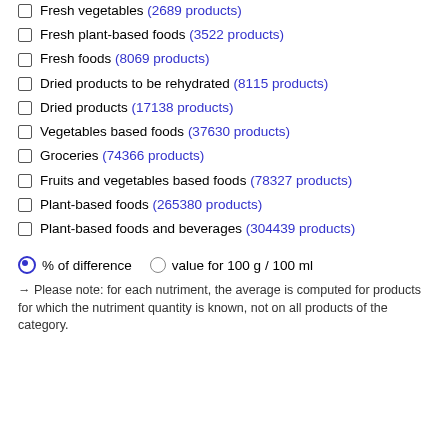Fresh vegetables (2689 products)
Fresh plant-based foods (3522 products)
Fresh foods (8069 products)
Dried products to be rehydrated (8115 products)
Dried products (17138 products)
Vegetables based foods (37630 products)
Groceries (74366 products)
Fruits and vegetables based foods (78327 products)
Plant-based foods (265380 products)
Plant-based foods and beverages (304439 products)
% of difference   value for 100 g / 100 ml
→ Please note: for each nutriment, the average is computed for products for which the nutriment quantity is known, not on all products of the category.